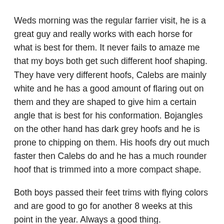Weds morning was the regular farrier visit, he is a great guy and really works with each horse for what is best for them. It never fails to amaze me that my boys both get such different hoof shaping.  They have very different hoofs, Calebs are mainly white and he has a good amount of flaring out on them and they are shaped to give him a certain angle that is best for his conformation. Bojangles on the other hand has dark grey hoofs and he is prone to chipping on them. His hoofs dry out much faster then Calebs do and he has a much rounder hoof that is trimmed into a more compact shape.
Both boys passed their feet trims with flying colors and are good to go for another 8 weeks at this point in the year. Always a good thing.